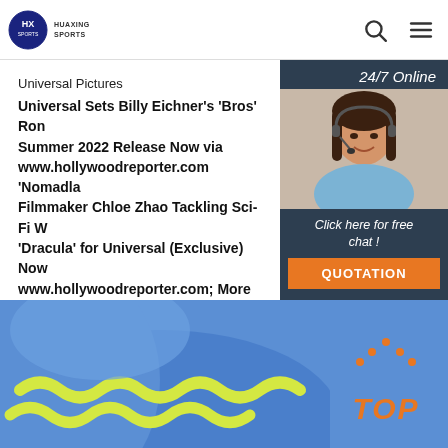HUAXING SPORTS
Universal Pictures
Universal Sets Billy Eichner's 'Bros' Rom Summer 2022 Release Now via www.hollywoodreporter.com 'Nomadla Filmmaker Chloe Zhao Tackling Sci-Fi W 'Dracula' for Universal (Exclusive) Now www.hollywoodreporter.com; More
Get Price
[Figure (photo): Customer service agent woman with headset smiling, with 24/7 Online label and Click here for free chat! text and QUOTATION button on dark navy background]
[Figure (photo): Blue and yellow athletic/swimsuit garment close-up at bottom of page]
TOP